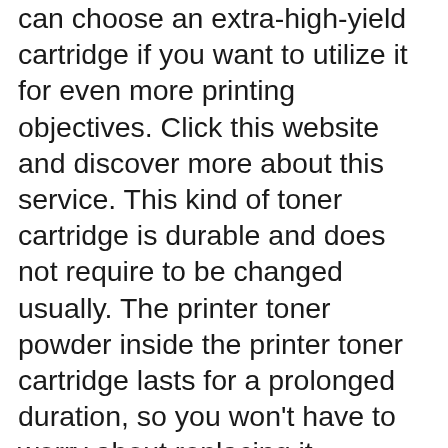can choose an extra-high-yield cartridge if you want to utilize it for even more printing objectives. Click this website and discover more about this service. This kind of toner cartridge is durable and does not require to be changed usually. The printer toner powder inside the printer toner cartridge lasts for a prolonged duration, so you won't have to worry about replacing it commonly. For day-to-day usage, a basic printer toner cartridge can provide up to 1,200 pages of document volume. It is an excellent option for occasional usage, but it is additionally a great alternative for residence as well as light-duty offices. View here for more info. The parts of this sort of toner cartridge are made from recyclable products and eco-friendly. This link will help you to learn more